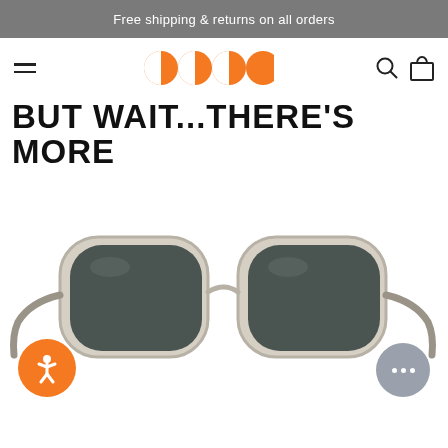Free shipping & returns on all orders
[Figure (logo): GCCO brand logo with orange pac-man style circles]
BUT WAIT...THERE'S MORE
[Figure (photo): Transparent/clear frame sunglasses with dark gray lenses, square-round shape]